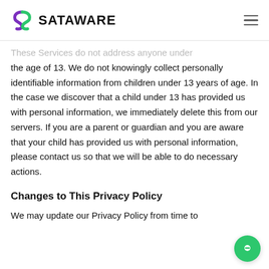SATAWARE
These Services do not address anyone under the age of 13. We do not knowingly collect personally identifiable information from children under 13 years of age. In the case we discover that a child under 13 has provided us with personal information, we immediately delete this from our servers. If you are a parent or guardian and you are aware that your child has provided us with personal information, please contact us so that we will be able to do necessary actions.
Changes to This Privacy Policy
We may update our Privacy Policy from time to